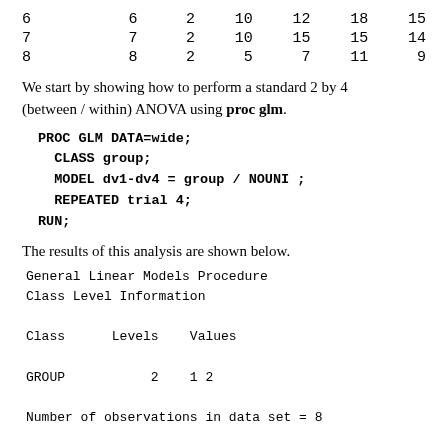| 6 | 6 | 2 | 10 | 12 | 18 | 15 |
| 7 | 7 | 2 | 10 | 15 | 15 | 14 |
| 8 | 8 | 2 | 5 | 7 | 11 | 9 |
We start by showing how to perform a standard 2 by 4 (between / within) ANOVA using proc glm.
PROC GLM DATA=wide;
  CLASS group;
  MODEL dv1-dv4 = group / NOUNI ;
  REPEATED trial 4;
RUN;
The results of this analysis are shown below.
General Linear Models Procedure
Class Level Information

Class      Levels    Values

GROUP           2    1 2

Number of observations in data set = 8

General Linear Models Procedure
Repeated Measures Analysis of Variance